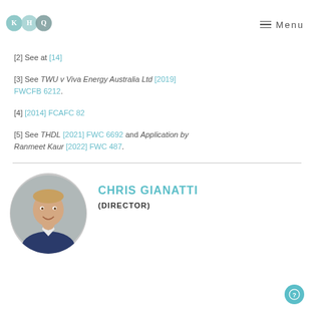KHQ Logo | Menu
[2] See at [14]
[3] See TWU v Viva Energy Australia Ltd [2019] FWCFB 6212.
[4] [2014] FCAFC 82
[5] See THDL [2021] FWC 6692 and Application by Ranmeet Kaur [2022] FWC 487.
[Figure (photo): Circular headshot photo of Chris Gianatti, a man in a suit smiling]
CHRIS GIANATTI
(DIRECTOR)